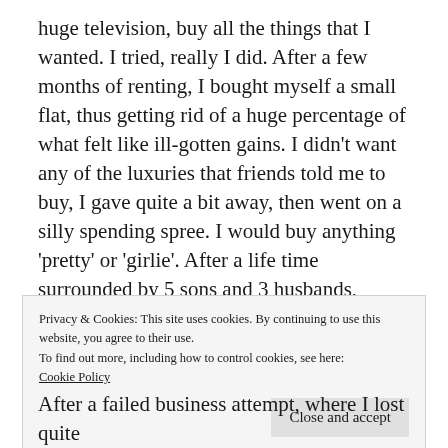huge television, buy all the things that I wanted. I tried, really I did. After a few months of renting, I bought myself a small flat, thus getting rid of a huge percentage of what felt like ill-gotten gains. I didn't want any of the luxuries that friends told me to buy, I gave quite a bit away, then went on a silly spending spree. I would buy anything 'pretty' or 'girlie'. After a life time surrounded by 5 sons and 3 husbands, pretty, girlie things were in short supply. The thing is, I didn't really want these things and the novelty soon wore off.
Privacy & Cookies: This site uses cookies. By continuing to use this website, you agree to their use.
To find out more, including how to control cookies, see here:
Cookie Policy
Close and accept
After a failed business attempt, where I lost quite